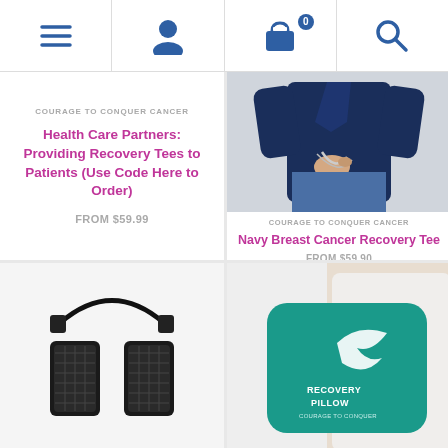[Figure (screenshot): Website navigation bar with hamburger menu icon, user/account icon, shopping cart icon with badge showing 0, and search icon]
COURAGE TO CONQUER CANCER
Health Care Partners: Providing Recovery Tees to Patients (Use Code Here to Order)
FROM $59.99
[Figure (photo): Person in navy blue shirt accessing a drain/medical tube from inside the garment]
COURAGE TO CONQUER CANCER
Navy Breast Cancer Recovery Tee
FROM $59.90
[Figure (photo): Black mesh surgical drain holder/lanyard with two pouches and clips]
[Figure (photo): Person holding a teal recovery pillow with Recovery Pillow logo and Courage to Conquer branding]